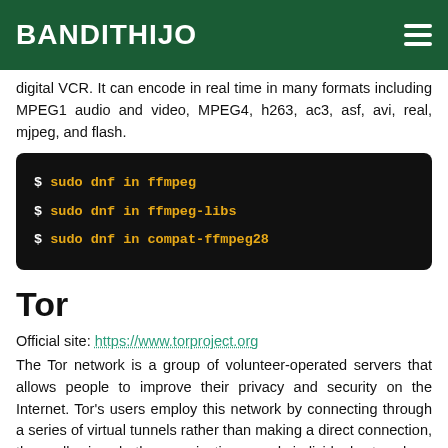BANDITHIJO
digital VCR. It can encode in real time in many formats including MPEG1 audio and video, MPEG4, h263, ac3, asf, avi, real, mjpeg, and flash.
$ sudo dnf in ffmpeg
$ sudo dnf in ffmpeg-libs
$ sudo dnf in compat-ffmpeg28
Tor
Official site: https://www.torproject.org
The Tor network is a group of volunteer-operated servers that allows people to improve their privacy and security on the Internet. Tor's users employ this network by connecting through a series of virtual tunnels rather than making a direct connection, thus allowing both organizations and individuals to share information over public networks